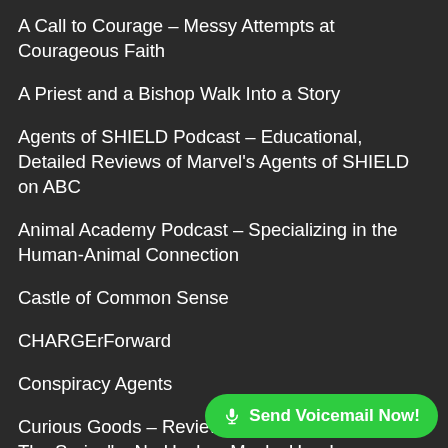A Call to Courage – Messy Attempts at Courageous Faith
A Priest and a Bishop Walk Into a Story
Agents of SHIELD Podcast – Educational, Detailed Reviews of Marvel's Agents of SHIELD on ABC
Animal Academy Podcast – Specializing in the Human-Animal Connection
Castle of Common Sense
CHARGErForward
Conspiracy Agents
Curious Goods – Reviewing "Friday The 13th: The Series" – No Hockey Masks Here!
Digitally Dispatched – Location, Location – Location.
Free Field Training Podcast
Green Gab Podcast – Green Homes, Green Living and